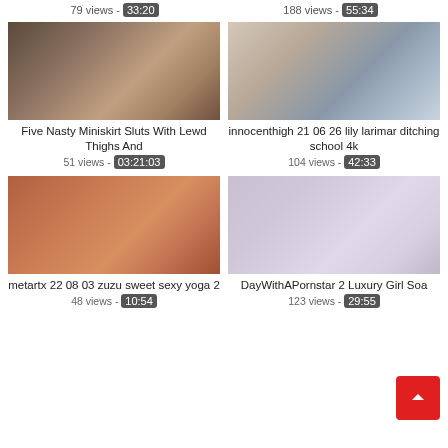79 views - 33:20
188 views - 55:34
[Figure (photo): Video thumbnail 1 - Five Nasty Miniskirt Sluts With Lewd Thighs And]
Five Nasty Miniskirt Sluts With Lewd Thighs And
51 views - 03:21:03
[Figure (photo): Video thumbnail 2 - innocenthigh 21 06 26 lily larimar ditching school 4k]
innocenthigh 21 06 26 lily larimar ditching school 4k
104 views - 42:33
[Figure (photo): Video thumbnail 3 - metartx 22 08 03 zuzu sweet sexy yoga 2]
metartx 22 08 03 zuzu sweet sexy yoga 2
48 views - 10:54
[Figure (photo): Video thumbnail 4 - DayWithAPornstar 2 Luxury Girl Soa]
DayWithAPornstar 2 Luxury Girl Soa
123 views - 29:55